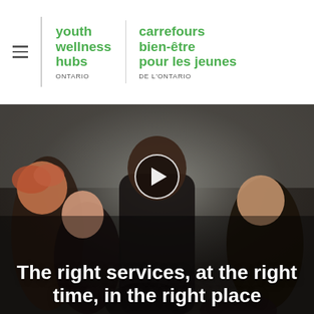youth wellness hubs ONTARIO | carrefours bien-être pour les jeunes DE L'ONTARIO
[Figure (photo): Group of young people sitting together laughing and smiling, with a video play button overlay in the center]
The right services, at the right time, in the right place